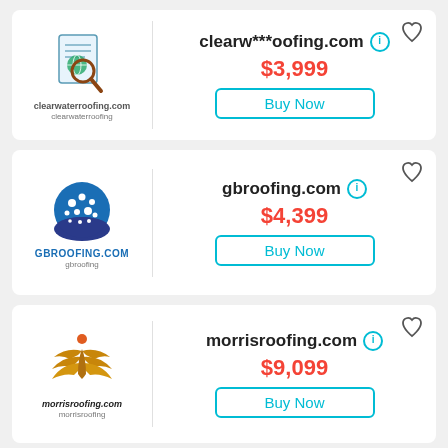[Figure (logo): clearwaterroofing.com logo with magnifying glass and document icon]
clearw***oofing.com
$3,999
Buy Now
[Figure (logo): GBROOFING.COM logo with blue circle and white dots]
gbroofing.com
$4,399
Buy Now
[Figure (logo): morrisroofing.com logo with orange/gold wing figure]
morrisroofing.com
$9,099
Buy Now